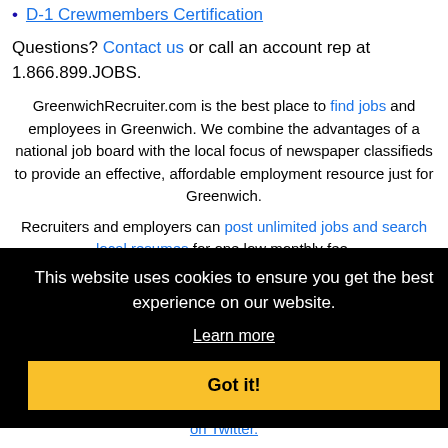D-1 Crewmembers Certification
Questions? Contact us or call an account rep at 1.866.899.JOBS.
GreenwichRecruiter.com is the best place to find jobs and employees in Greenwich. We combine the advantages of a national job board with the local focus of newspaper classifieds to provide an effective, affordable employment resource just for Greenwich.
Recruiters and employers can post unlimited jobs and search local resumes for one low monthly fee.
Job seekers, post your resume for free and let local employers find you.
This website uses cookies to ensure you get the best experience on our website.
Learn more
Got it!